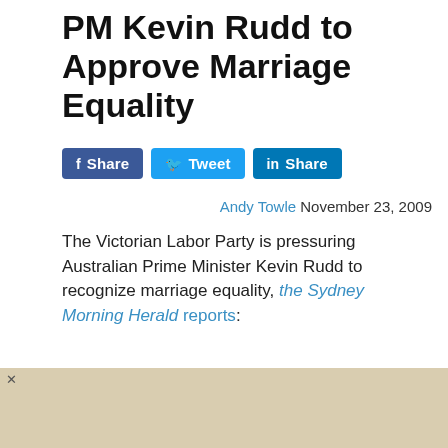PM Kevin Rudd to Approve Marriage Equality
[Figure (other): Social media share buttons: Facebook Share, Twitter Tweet, LinkedIn Share]
Andy Towle November 23, 2009
The Victorian Labor Party is pressuring Australian Prime Minister Kevin Rudd to recognize marriage equality, the Sydney Morning Herald reports:
[Figure (photo): Partial photo of a person with grey/white hair, blurred background with blue and white tones]
[Figure (other): Advertisement overlay banner with tan/beige background and close (x) button]